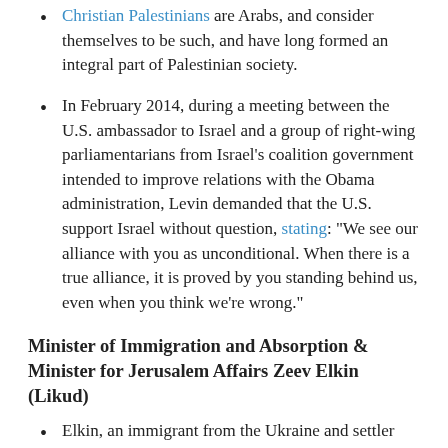Christian Palestinians are Arabs, and consider themselves to be such, and have long formed an integral part of Palestinian society.
In February 2014, during a meeting between the U.S. ambassador to Israel and a group of right-wing parliamentarians from Israel’s coalition government intended to improve relations with the Obama administration, Levin demanded that the U.S. support Israel without question, stating: “We see our alliance with you as unconditional. When there is a true alliance, it is proved by you standing behind us, even when you think we're wrong.”
Minister of Immigration and Absorption & Minister for Jerusalem Affairs Zeev Elkin (Likud)
Elkin, an immigrant from the Ukraine and settler who lives in the illegal colony of Alon Shvut on Palestinian